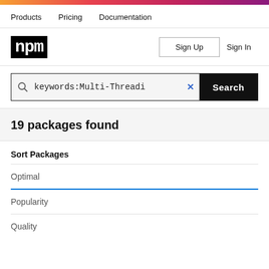npm – Products  Pricing  Documentation
[Figure (logo): npm logo in black box]
Sign Up  Sign In
keywords:Multi-Threadi ×  Search
19 packages found
Sort Packages
Optimal
Popularity
Quality